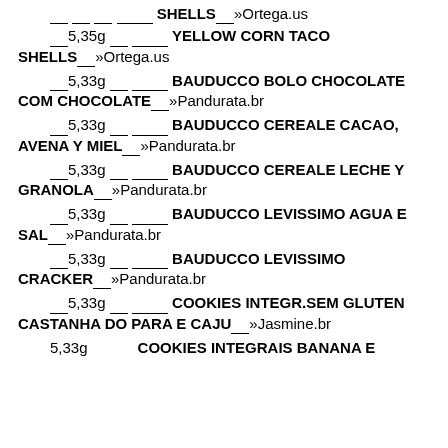___ ___ __ ______  SHELLS___»Ortega.us
___5,35g __ ______  YELLOW CORN TACO SHELLS___»Ortega.us
___5,33g __ ______  BAUDUCCO BOLO CHOCOLATE COM CHOCOLATE___»Pandurata.br
___5,33g __ ______  BAUDUCCO CEREALE CACAO, AVENA Y MIEL___»Pandurata.br
___5,33g __ ______  BAUDUCCO CEREALE LECHE Y GRANOLA___»Pandurata.br
___5,33g __ ______  BAUDUCCO LEVISSIMO AGUA E SAL___»Pandurata.br
___5,33g __ ______  BAUDUCCO LEVISSIMO CRACKER___»Pandurata.br
___5,33g __ ______  COOKIES INTEGR.SEM GLUTEN CASTANHA DO PARA E CAJU___»Jasmine.br
5,33g          COOKIES INTEGRAIS BANANA E